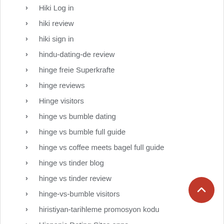Hiki Log in
hiki review
hiki sign in
hindu-dating-de review
hinge freie Superkrafte
hinge reviews
Hinge visitors
hinge vs bumble dating
hinge vs bumble full guide
hinge vs coffee meets bagel full guide
hinge vs tinder blog
hinge vs tinder review
hinge-vs-bumble visitors
hiristiyan-tarihleme promosyon kodu
Hispanic Dating Sites apps